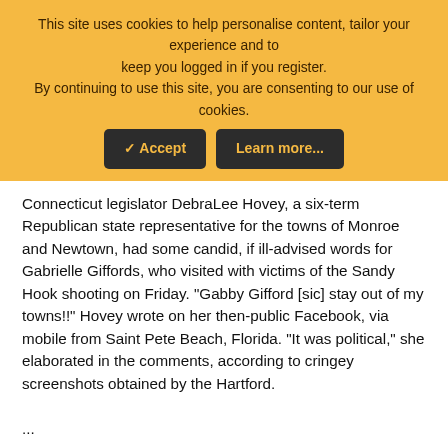This site uses cookies to help personalise content, tailor your experience and to keep you logged in if you register. By continuing to use this site, you are consenting to our use of cookies.
Connecticut legislator DebraLee Hovey, a six-term Republican state representative for the towns of Monroe and Newtown, had some candid, if ill-advised words for Gabrielle Giffords, who visited with victims of the Sandy Hook shooting on Friday. "Gabby Gifford [sic] stay out of my towns!!" Hovey wrote on her then-public Facebook, via mobile from Saint Pete Beach, Florida. "It was political," she elaborated in the comments, according to cringey screenshots obtained by the Hartford. ...
FragileSugar